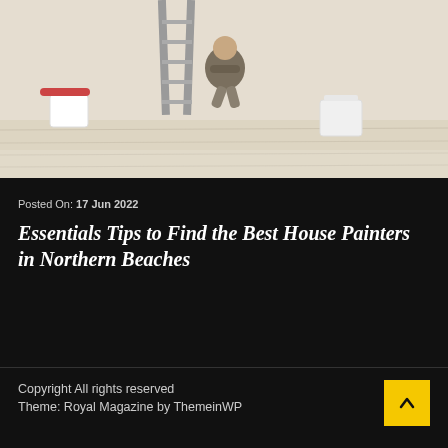[Figure (photo): A person crouching on a light wood floor next to a metal ladder, painting a wall white. Paint supplies including a roller and white bucket are visible.]
Posted On: 17 Jun 2022
Essentials Tips to Find the Best House Painters in Northern Beaches
Copyright All rights reserved
Theme: Royal Magazine by ThemeinWP